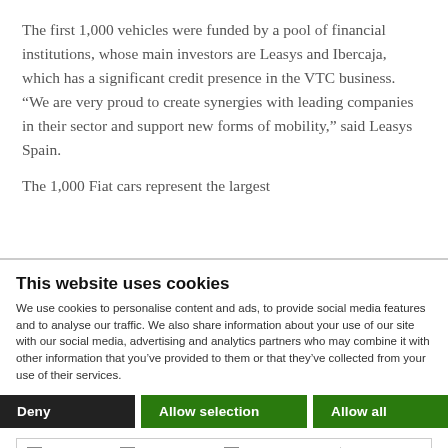The first 1,000 vehicles were funded by a pool of financial institutions, whose main investors are Leasys and Ibercaja, which has a significant credit presence in the VTC business. “We are very proud to create synergies with leading companies in their sector and support new forms of mobility,” said Leasys Spain.
The 1,000 Fiat cars represent the largest
This website uses cookies
We use cookies to personalise content and ads, to provide social media features and to analyse our traffic. We also share information about your use of our site with our social media, advertising and analytics partners who may combine it with other information that you’ve provided to them or that they’ve collected from your use of their services.